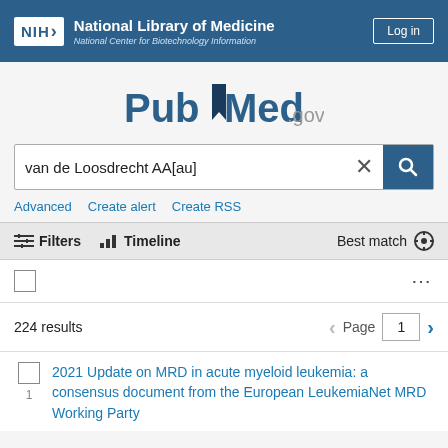NIH National Library of Medicine National Center for Biotechnology Information | Log in
[Figure (logo): PubMed.gov logo with bookmark icon between Pub and Med]
van de Loosdrecht AA[au]
Advanced   Create alert   Create RSS
Filters   Timeline   Best match
224 results   Page 1
2021 Update on MRD in acute myeloid leukemia: a consensus document from the European LeukemiaNet MRD Working Party